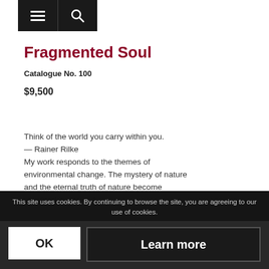[Figure (screenshot): Navigation bar with hamburger menu icon and search icon on dark background]
Fragmented Soul
Catalogue No. 100
$9,500
Think of the world you carry within you.
— Rainer Rilke
My work responds to the themes of environmental change. The mystery of nature and the eternal truth of nature become entwined in my work.
This site uses cookies. By continuing to browse the site, you are agreeing to our use of cookies.
OK
Learn more